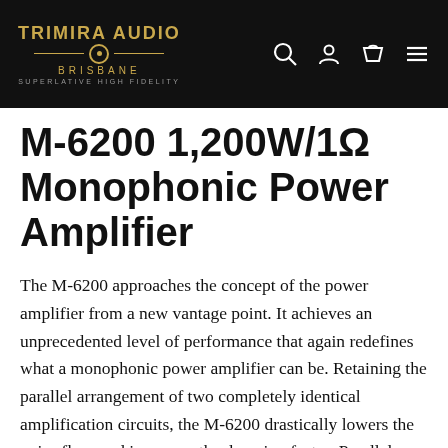TRIMIRA AUDIO BRISBANE SUPERLATIVE HIGH FIDELITY
M-6200 1,200W/1Ω Monophonic Power Amplifier
The M-6200 approaches the concept of the power amplifier from a new vantage point. It achieves an unprecedented level of performance that again redefines what a monophonic power amplifier can be. Retaining the parallel arrangement of two completely identical amplification circuits, the M-6200 drastically lowers the noise floor and improves the damping factor. Parallel operation has the advantage of significantly bolstering output current capability, as well as enabling extremely